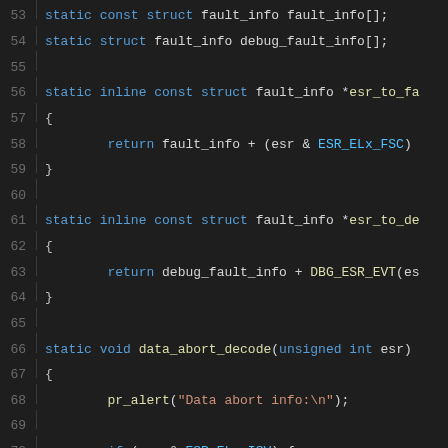[Figure (screenshot): Source code listing showing C code lines 53-74 with syntax highlighting. Lines include static struct declarations, inline functions esr_to_fault_info, esr_to_debug_fault_info, and data_abort_decode function with pr_alert calls and conditional logic.]